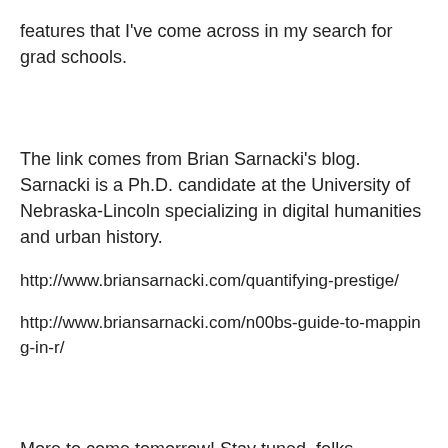features that I've come across in my search for grad schools.
The link comes from Brian Sarnacki's blog. Sarnacki is a Ph.D. candidate at the University of Nebraska-Lincoln specializing in digital humanities and urban history.
http://www.briansarnacki.com/quantifying-prestige/
http://www.briansarnacki.com/n00bs-guide-to-mapping-in-r/
More to come tomorrow! Stay tuned, folks.